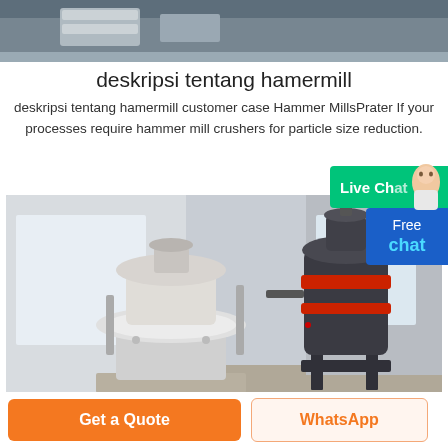[Figure (photo): Partial top photo of industrial machinery or equipment, gray/blue tones, partially cropped at top of page]
deskripsi tentang hamermill
deskripsi tentang hamermill customer case Hammer MillsPrater If your processes require hammer mill crushers for particle size reduction.
[Figure (photo): Photo of industrial grinding/milling machines in a factory: a white vertical roller mill on the left and a dark cylindrical machine with red bands on the right, inside a workshop]
[Figure (other): Live Chat button widget (green) with avatar and Free chat blue button overlay]
Get a Quote
WhatsApp